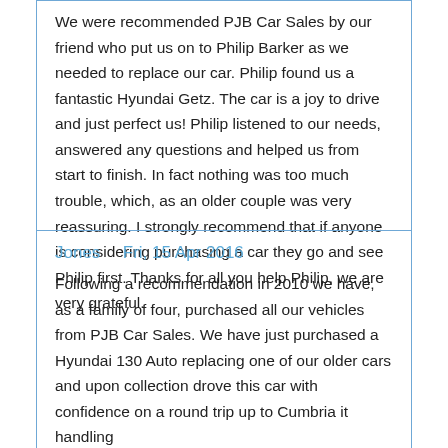We were recommended PJB Car Sales by our friend who put us on to Philip Barker as we needed to replace our car. Philip found us a fantastic Hyundai Getz. The car is a joy to drive and just perfect us! Philip listened to our needs, answered any questions and helped us from start to finish. In fact nothing was too much trouble, which, as an older couple was very reassuring. I strongly recommend that if anyone is considering purchasing a car they go and see Philip first. Thanks for all you help Philip, we are very grateful.
Jones   Fri, 15 Apr 2016
Following a recommendation in 2010 we have, as a family of four, purchased all our vehicles from PJB Car Sales. We have just purchased a Hyundai 130 Auto replacing one of our older cars and upon collection drove this car with confidence on a round trip up to Cumbria it handling